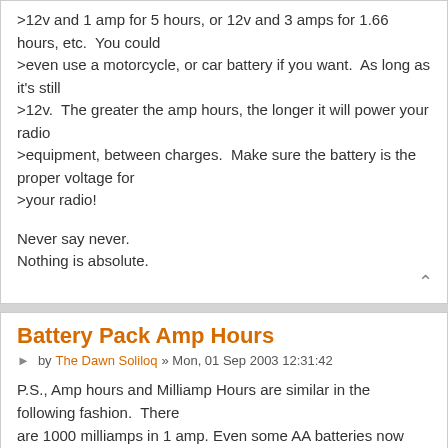>12v and 1 amp for 5 hours, or 12v and 3 amps for 1.66 hours, etc.  You could >even use a motorcycle, or car battery if you want.  As long as it's still >12v.  The greater the amp hours, the longer it will power your radio >equipment, between charges.  Make sure the battery is the proper voltage for >your radio!
Never say never.
Nothing is absolute.
Battery Pack Amp Hours
by The Dawn Soliloq » Mon, 01 Sep 2003 12:31:42
P.S., Amp hours and Milliamp Hours are similar in the following fashion.  There are 1000 milliamps in 1 amp. Even some AA batteries now have 1200 Milliamp hours. This would be 1.2 Amps for for 1 hour.